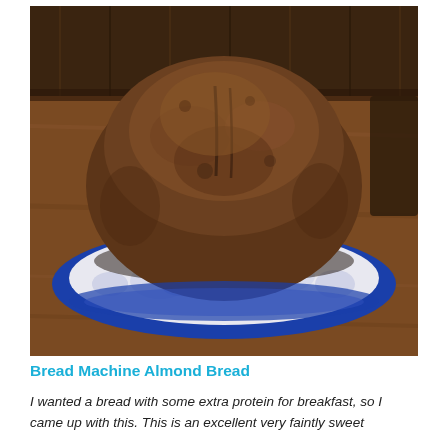[Figure (photo): A round loaf of dark brown bread sitting on a decorative blue-rimmed plate with white and purple floral pattern, placed on a wooden surface. The bread has a characteristic bread-machine dome shape with a slight crease on top.]
Bread Machine Almond Bread
I wanted a bread with some extra protein for breakfast, so I came up with this. This is an excellent very faintly sweet